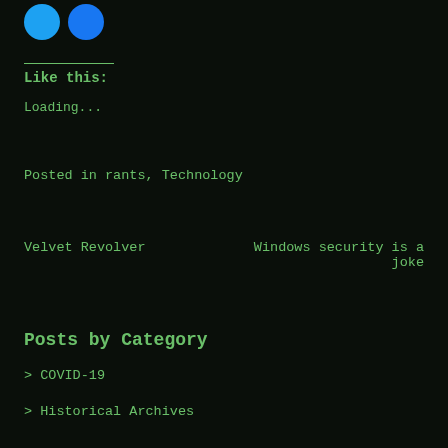[Figure (other): Two social media icon circles (Twitter blue and Facebook blue) at top left]
Like this:
Loading...
Posted in rants, Technology
Velvet Revolver
Windows security is a joke
Posts by Category
> COVID-19
> Historical Archives